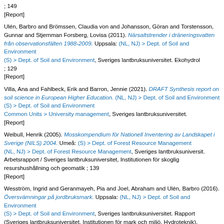; 149 [Report]
Ulén, Barbro and Brömssen, Claudia von and Johansson, Göran and Torstensson, Gunnar and Stjernman Forsberg, Lovisa (2011). Närsaltstrender i dräneringsvatten från observationsfälten 1988-2009. Uppsala: (NL, NJ) > Dept. of Soil and Environment (S) > Dept. of Soil and Environment, Sveriges lantbruksuniversitet. Ekohydrologi ; 129 [Report]
Villa, Ana and Fahlbeck, Erik and Barron, Jennie (2021). DRAFT Synthesis report on soil science in European Higher Education. (NL, NJ) > Dept. of Soil and Environment (S) > Dept. of Soil and Environment Common Units > University management, Sveriges lantbruksuniversitet. [Report]
Weibull, Henrik (2005). Mosskompendium för Nationell Inventering av Landskapet i Sverige (NILS) 2004. Umeå: (S) > Dept. of Forest Resource Management (NL, NJ) > Dept. of Forest Resource Management, Sveriges lantbruksuniversitet. Arbetsrapport / Sveriges lantbruksuniversitet, Institutionen för skoglig resurshushållning och geomatik ; 139 [Report]
Wesström, Ingrid and Geranmayeh, Pia and Joel, Abraham and Ulén, Barbro (2016). Översvämningar på jordbruksmark. Uppsala: (NL, NJ) > Dept. of Soil and Environment (S) > Dept. of Soil and Environment, Sveriges lantbruksuniversitet. Rapport (Sveriges lantbruksuniversitet, Institutionen för mark och miljö, Hydroteknik).